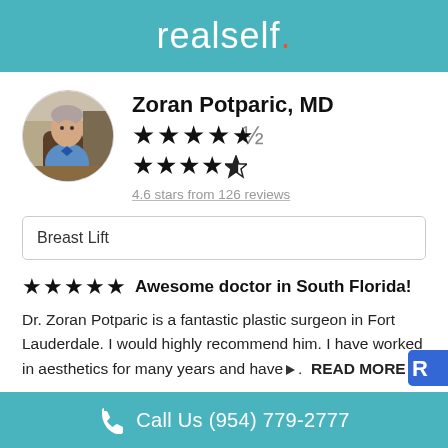realself.
[Figure (photo): Circular portrait photo of Dr. Zoran Potparic, MD, a man in a blue shirt seated at a desk]
Zoran Potparic, MD
★★★★★ 4.6 stars from 126 reviews
Breast Lift
★★★★★  Awesome doctor in South Florida!
Dr. Zoran Potparic is a fantastic plastic surgeon in Fort Lauderdale. I would highly recommend him. I have worked in aesthetics for many years and have▶.  READ MORE
Call Us (954) 779-2777